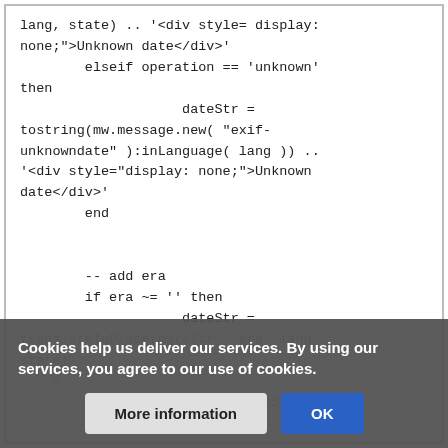lang, state) .. '<div style= display:
none;">Unknown date</div>'
        elseif operation == 'unknown'
then
                    dateStr =
tostring(mw.message.new( "exif-
unknowndate" ):inLanguage( lang )) ..
'<div style="display: none;">Unknown
date</div>'
        end

        -- add era
        if era ~= '' then
                    dateStr =
 translateInPlace(dateStr, -era, lang,
state)
                    e
                    return dateStr...
Cookies help us deliver our services. By using our services, you agree to our use of cookies.